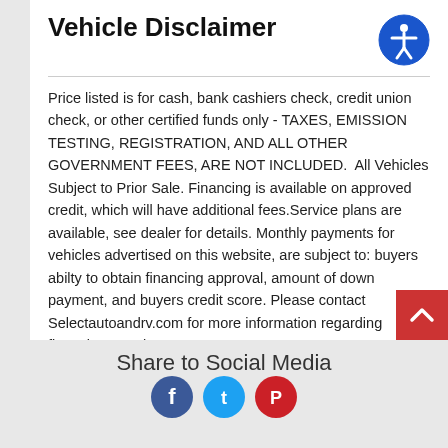Vehicle Disclaimer
Price listed is for cash, bank cashiers check, credit union check, or other certified funds only - TAXES, EMISSION TESTING, REGISTRATION, AND ALL OTHER GOVERNMENT FEES, ARE NOT INCLUDED.  All Vehicles Subject to Prior Sale. Financing is available on approved credit, which will have additional fees.Service plans are available, see dealer for details. Monthly payments for vehicles advertised on this website, are subject to: buyers abilty to obtain financing approval, amount of down payment, and buyers credit score. Please contact Selectautoandrv.com for more information regarding financing, requirements.
Share to Social Media